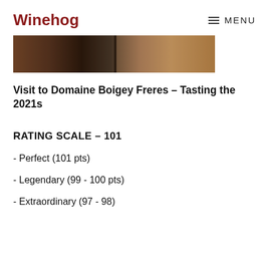Winehog   ≡ MENU
[Figure (photo): Photo of wooden barrels or cellar furniture, dark brown tones]
Visit to Domaine Boigey Freres – Tasting the 2021s
RATING SCALE – 101
- Perfect (101 pts)
- Legendary (99 - 100 pts)
- Extraordinary (97 - 98)